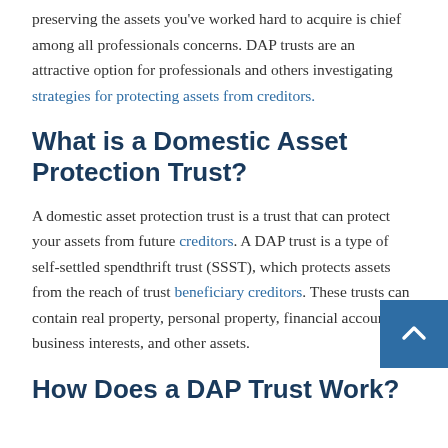preserving the assets you've worked hard to acquire is chief among all professionals concerns. DAP trusts are an attractive option for professionals and others investigating strategies for protecting assets from creditors.
What is a Domestic Asset Protection Trust?
A domestic asset protection trust is a trust that can protect your assets from future creditors. A DAP trust is a type of self-settled spendthrift trust (SSST), which protects assets from the reach of trust beneficiary creditors. These trusts can contain real property, personal property, financial accounts, business interests, and other assets.
How Does a DAP Trust Work?